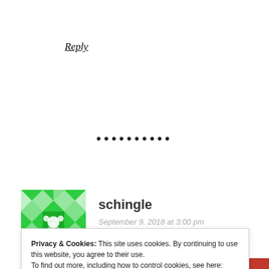Reply
••••••••••
[Figure (illustration): Green geometric avatar/identicon icon with diamond and square patterns]
schingle
September 9, 2018 at 3:00 pm
Privacy & Cookies: This site uses cookies. By continuing to use this website, you agree to their use.
To find out more, including how to control cookies, see here: Cookie Policy
Close and accept